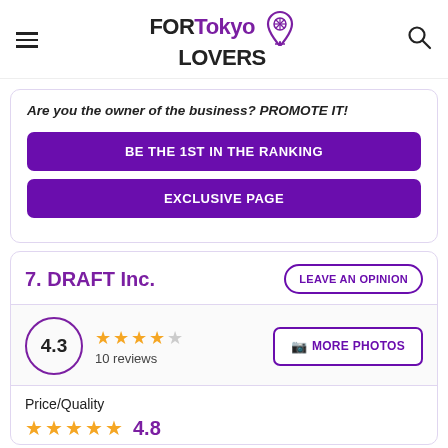FORTokyo LOVERS
Are you the owner of the business? PROMOTE IT!
BE THE 1ST IN THE RANKING
EXCLUSIVE PAGE
7. DRAFT Inc.
4.3 — 10 reviews
MORE PHOTOS
Price/Quality
4.8